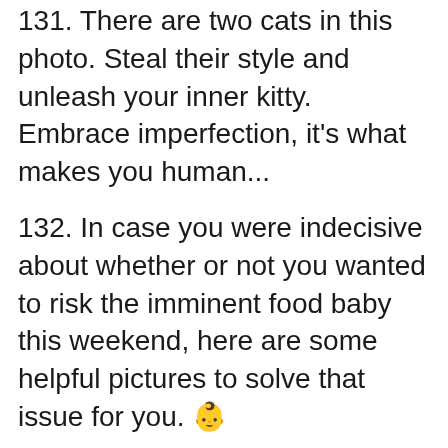131. There are two cats in this photo. Steal their style and unleash your inner kitty. Embrace imperfection, it's what makes you human...
132. In case you were indecisive about whether or not you wanted to risk the imminent food baby this weekend, here are some helpful pictures to solve that issue for you. 👶
133. What a trio! Can't wait to see what they grow up to be. 😆
134. I always give 110%. Except when